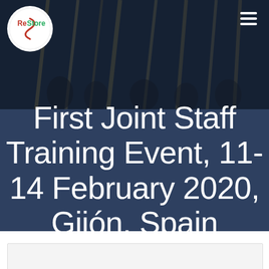[Figure (photo): Dark banner header with crowd/people holding sticks in background, semi-transparent dark overlay. Contains a circular ReStore logo in top-left and hamburger menu icon in top-right.]
First Joint Staff Training Event, 11-14 February 2020, Gijón, Spain